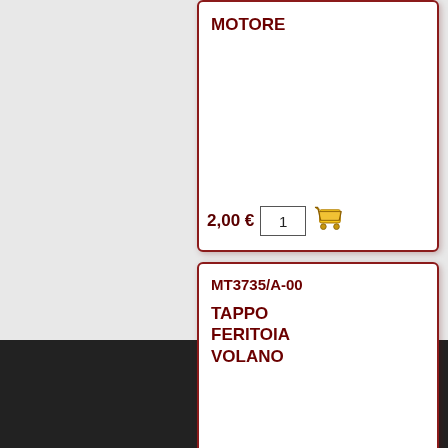MOTORE
2,00 € 1
MT3735/A-00
TAPPO FERITOIA VOLANO
2,00 € 1